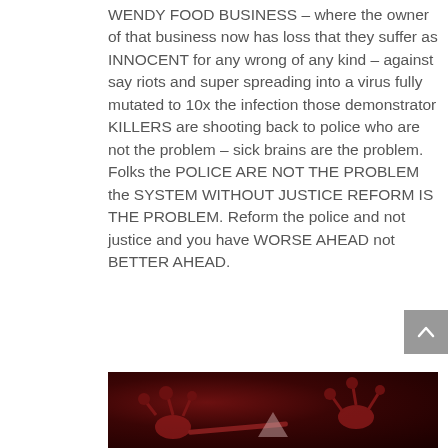WENDY FOOD BUSINESS – where the owner of that business now has loss that they suffer as INNOCENT for any wrong of any kind – against say riots and super spreading into a virus fully mutated to 10x the infection those demonstrator KILLERS are shooting back to police who are not the problem – sick brains are the problem. Folks the POLICE ARE NOT THE PROBLEM the SYSTEM WITHOUT JUSTICE REFORM IS THE PROBLEM. Reform the police and not justice and you have WORSE AHEAD not BETTER AHEAD.
[Figure (photo): Dark red image showing what appears to be a virus or biological structure with tentacle-like protrusions against a dark crimson background]